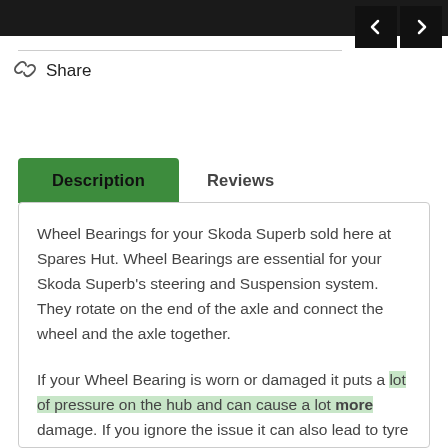Share
Description | Reviews
Wheel Bearings for your Skoda Superb sold here at Spares Hut. Wheel Bearings are essential for your Skoda Superb's steering and Suspension system. They rotate on the end of the axle and connect the wheel and the axle together.
If your Wheel Bearing is worn or damaged it puts a lot of pressure on the hub and can cause a lot more damage. If you ignore the issue it can also lead to tyre damage as more friction will be placed on the